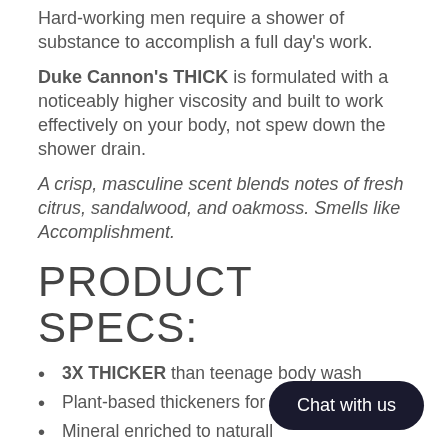Hard-working men require a shower of substance to accomplish a full day's work.
Duke Cannon's THICK is formulated with a noticeably higher viscosity and built to work effectively on your body, not spew down the shower drain.
A crisp, masculine scent blends notes of fresh citrus, sandalwood, and oakmoss. Smells like Accomplishment.
PRODUCT SPECS:
3X THICKER than teenage body wash
Plant-based thickeners for superior lather
Mineral enriched to naturall...
Contains Aloe vera to hydr... t
Bonus: no loofah required
Paraben, phthalate, and cruelty-free